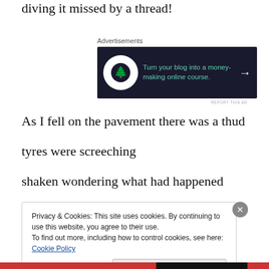diving it missed by a thread!
[Figure (other): Advertisement banner: dark background with bonsai tree logo circle, teal text 'Turn your blog into a money-making online course.' with arrow]
As I fell on the pavement there was a thud
tyres were screeching
shaken wondering what had happened
Privacy & Cookies: This site uses cookies. By continuing to use this website, you agree to their use.
To find out more, including how to control cookies, see here: Cookie Policy